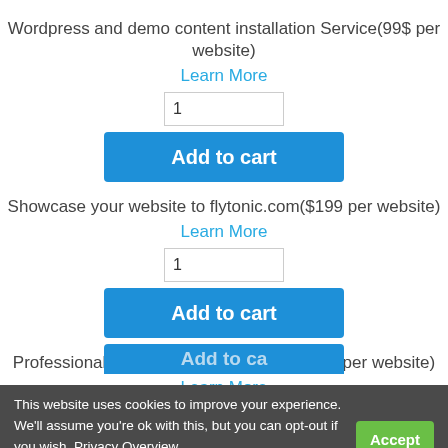Wordpress and demo content installation Service(99$ per website)
Learn More
Add to cart
Showcase your website to flytonic.com($199 per website)
Learn More
Add to cart
Professional logo for your new website(99$ per website)
Learn More
Add to cart
This website uses cookies to improve your experience. We'll assume you're ok with this, but you can opt-out if you wish. Privacy Overview Accept
Add multiple of 6 Newsblogs for your website keywords